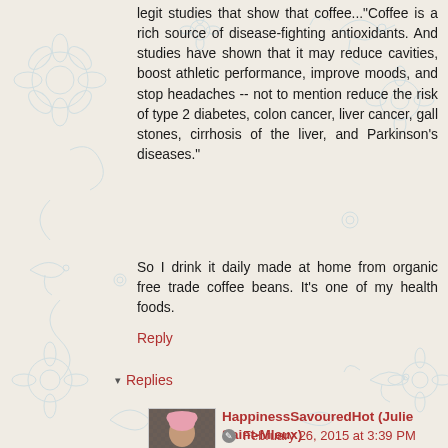legit studies that show that coffee..."Coffee is a rich source of disease-fighting antioxidants. And studies have shown that it may reduce cavities, boost athletic performance, improve moods, and stop headaches -- not to mention reduce the risk of type 2 diabetes, colon cancer, liver cancer, gall stones, cirrhosis of the liver, and Parkinson's diseases."
So I drink it daily made at home from organic free trade coffee beans. It's one of my health foods.
Reply
▾ Replies
HappinessSavouredHot (Julie Saint-Mleux)
February 26, 2015 at 3:39 PM
[Figure (photo): Small avatar/profile photo of HappinessSavouredHot (Julie Saint-Mleux), showing a person in a checkered top]
Very interesting comment on all accounts! I have never seen tea and coffee as a sin. I do think there might be health benefits when consumed in small amounts. You can add to it an improvement of constipation and asthma.